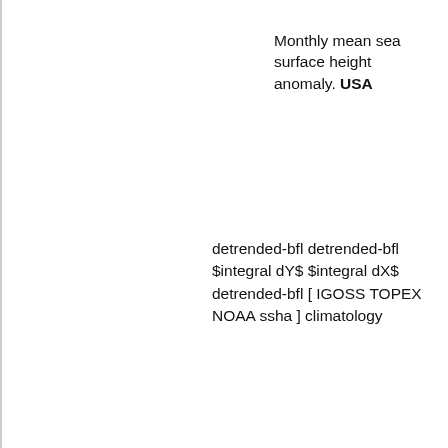Monthly mean sea surface height anomaly. USA
detrended-bfl detrended-bfl $integral dY$ $integral dX$ detrended-bfl [ IGOSS TOPEX NOAA ssha ] climatology
detrended-bfl detrended-bfl $integral dY$ $integral dX$ detrended-bfl [ IGOSS TOPEX NOAA ssha ]
Monthly mean sea surface